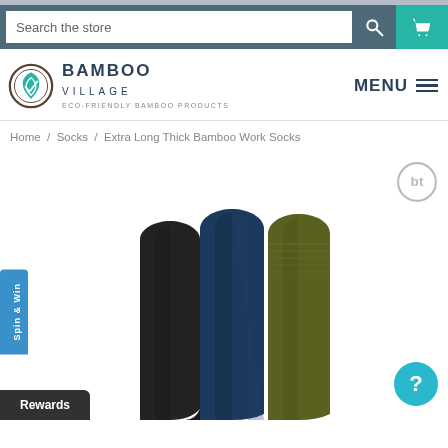[Figure (screenshot): E-commerce website header with search bar, Bamboo Village logo, and navigation menu]
Search the store
BAMBOO VILLAGE
ECO-FRIENDLY BAMBOO PRODUCTS
MENU
Home / Socks / Extra Long Thick Bamboo Work Socks
[Figure (photo): Three tall bamboo work socks in black, navy blue, and olive green colors displayed upright against white background]